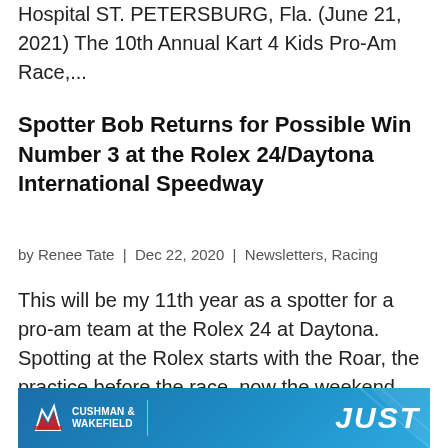Hospital ST. PETERSBURG, Fla. (June 21, 2021) The 10th Annual Kart 4 Kids Pro-Am Race,...
Spotter Bob Returns for Possible Win Number 3 at the Rolex 24/Daytona International Speedway
by Renee Tate | Dec 22, 2020 | Newsletters, Racing
This will be my 11th year as a spotter for a pro-am team at the Rolex 24 at Daytona. Spotting at the Rolex starts with the Roar, the practice before the race, now the weekend before the race. A spotter is the guy who generally is at the tallest point on the racetrack,...
[Figure (other): Cushman & Wakefield advertisement banner at the bottom of the page]